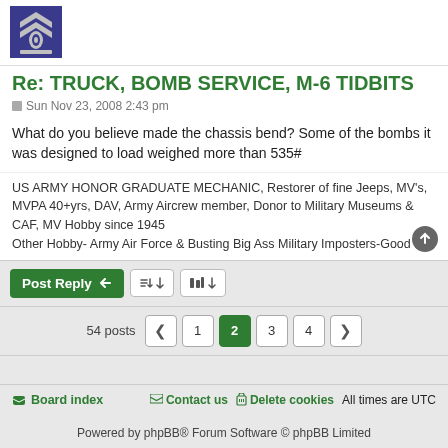[Figure (illustration): Military rank insignia badge/logo in blue and silver, chevron style]
Re: TRUCK, BOMB SERVICE, M-6 TIDBITS
Sun Nov 23, 2008 2:43 pm
What do you believe made the chassis bend? Some of the bombs it was designed to load weighed more than 535#
US ARMY HONOR GRADUATE MECHANIC, Restorer of fine Jeeps, MV's, MVPA 40+yrs, DAV, Army Aircrew member, Donor to Military Museums & CAF, MV Hobby since 1945
Other Hobby- Army Air Force & Busting Big Ass Military Imposters-Good at it
Post Reply  [tools] [sort]
54 posts  < 1  2  3  4  >
Board index   Contact us   Delete cookies   All times are UTC
Powered by phpBB® Forum Software © phpBB Limited
Style by Arty - phpBB 3.3 by MrGaby
Privacy | Terms